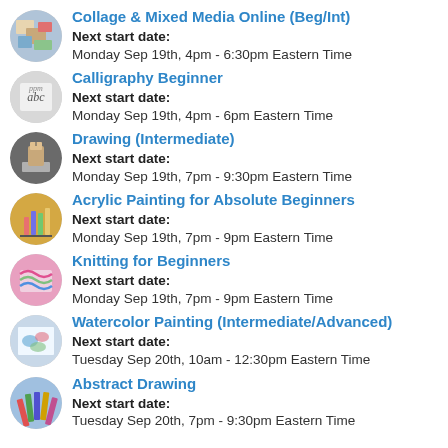Collage & Mixed Media Online (Beg/Int)
Next start date:
Monday Sep 19th, 4pm - 6:30pm Eastern Time
Calligraphy Beginner
Next start date:
Monday Sep 19th, 4pm - 6pm Eastern Time
Drawing (Intermediate)
Next start date:
Monday Sep 19th, 7pm - 9:30pm Eastern Time
Acrylic Painting for Absolute Beginners
Next start date:
Monday Sep 19th, 7pm - 9pm Eastern Time
Knitting for Beginners
Next start date:
Monday Sep 19th, 7pm - 9pm Eastern Time
Watercolor Painting (Intermediate/Advanced)
Next start date:
Tuesday Sep 20th, 10am - 12:30pm Eastern Time
Abstract Drawing
Next start date:
Tuesday Sep 20th, 7pm - 9:30pm Eastern Time